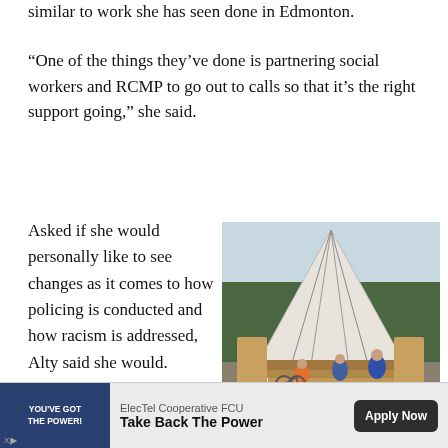similar to work she has seen done in Edmonton.
“One of the things they’ve done is partnering social workers and RCMP to go out to calls so that it’s the right support going,” she said.
Asked if she would personally like to see changes as it comes to how policing is conducted and how racism is addressed, Alty said she would.
[Figure (photo): A tipi structure with a wooden deck/stairs, several people sitting on the steps, trees in the background.]
Dawn-Marie Ashlie, education assistant with Range Lake North; Andrew Aust…
[Figure (other): Advertisement: ElecTel Cooperative FCU – Take Back The Power. Apply Now button.]